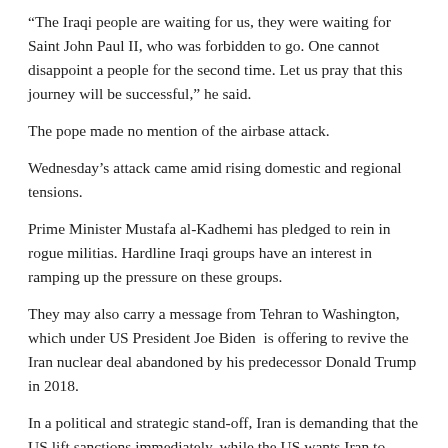“The Iraqi people are waiting for us, they were waiting for Saint John Paul II, who was forbidden to go. One cannot disappoint a people for the second time. Let us pray that this journey will be successful,” he said.
The pope made no mention of the airbase attack.
Wednesday’s attack came amid rising domestic and regional tensions.
Prime Minister Mustafa al-Kadhemi has pledged to rein in rogue militias. Hardline Iraqi groups have an interest in ramping up the pressure on these groups.
They may also carry a message from Tehran to Washington, which under US President Joe Biden  is offering to revive the Iran nuclear deal abandoned by his predecessor Donald Trump in 2018.
In a political and strategic stand-off, Iran is demanding that the US lift sanctions immediately, while the US wants Iran to move first by